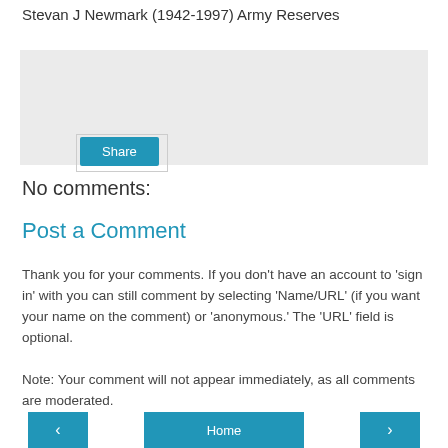Stevan J Newmark (1942-1997) Army Reserves
[Figure (screenshot): Gray box with a Share button (blue, white text) and a small outlined rectangle beside it]
No comments:
Post a Comment
Thank you for your comments. If you don't have an account to 'sign in' with you can still comment by selecting 'Name/URL' (if you want your name on the comment) or 'anonymous.' The 'URL' field is optional.
Note: Your comment will not appear immediately, as all comments are moderated.
[Figure (screenshot): Navigation bar with left arrow button, Home button, and right arrow button, all in blue]